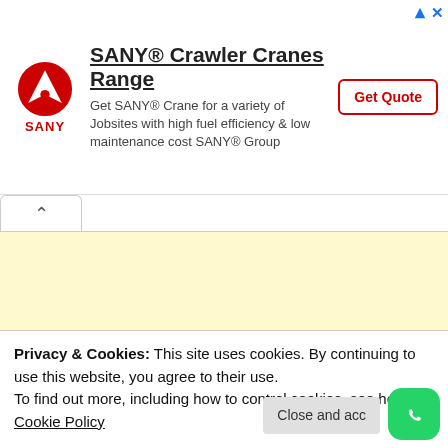[Figure (other): SANY advertisement banner with logo, crawler cranes range title, description text, and Get Quote button]
[Figure (other): Yellow collapsible panel with tab/chevron button at top left]
WEBSITE STATS
Privacy & Cookies: This site uses cookies. By continuing to use this website, you agree to their use.
To find out more, including how to control cookies, see here: Cookie Policy
Close and acc